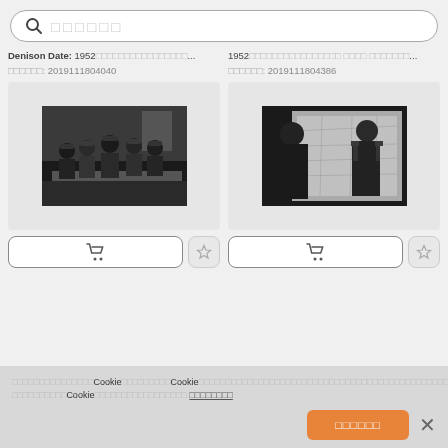□□□□□□ (search bar placeholder)
Denison Date: 1952□□□□□□□□□□□□□□□□...
1952□□□□□□□□□□□□□□□□  □□□□  □□□□□□□...
□□□□□□: 2019111804040
□□□□□□: 2019111804386
[Figure (photo): Black and white photo of a group of uniformed military officers standing around a table]
[Figure (photo): Black and white photo of two men, one in military uniform, looking at a map on a wall]
Cookie notice: □□□□□□□□□□□□□□□Cookie□□□□□□□□Cookie□□□□□□□□□□□□□□□□□□□□□□□□□□□□□□□□□□□□□□□□□□□□□□□□□Cookie□□□□□□□□□□□□□□□□□ □□□□□□□□
□□□□□□ (accept button)